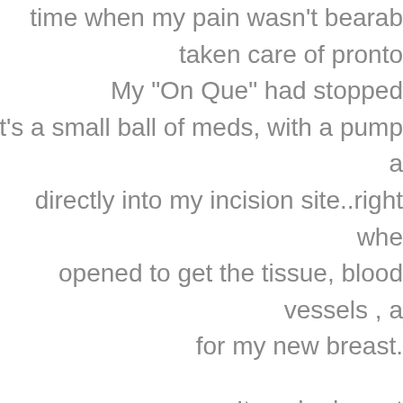time when my pain wasn't bearable taken care of pronto My "On Que" had stopped it's a small ball of meds, with a pump a directly into my incision site..right whe opened to get the tissue, blood vessels , a for my new breast. It worked great My blood pressure took a large drop, my hemoglobin w they had to change my pa ..do it yourself pump fr morphine ..to a new med thinking i morphine is known to lower blo That day